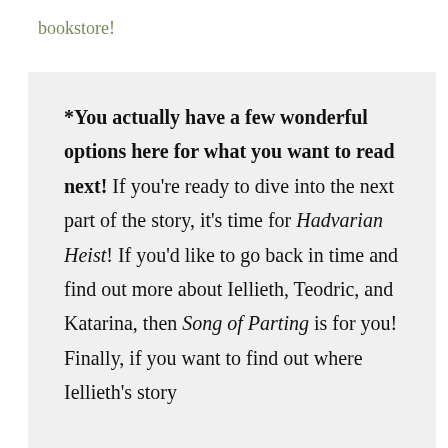bookstore!
*You actually have a few wonderful options here for what you want to read next! If you're ready to dive into the next part of the story, it's time for Hadvarian Heist! If you'd like to go back in time and find out more about Iellieth, Teodric, and Katarina, then Song of Parting is for you! Finally, if you want to find out where Iellieth's story